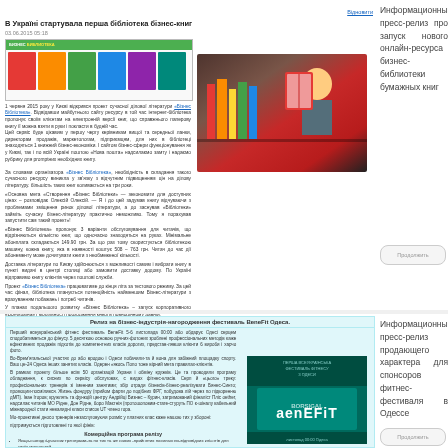Відновити
В Україні стартувала перша бібліотека бізнес-книг
03.06.2015 05:18
[Figure (photo): Screenshot of Бизнес Библиотека website with green header and book covers]
1 червня 2015 року в Києві відкрився проект сучасної ділової літератури «Бізнес Бібліотека». Відвідавши майбутнього сайту ресурсу в тій час інтернет-бібліотека пропонує своїм клієнтам на електронній версії книг, що справжнього паперову книгу її можна взяти в руки і покласти в будній час. Цей сервіс буде цікавим у першу чергу керівникам вищої та середньої ланки, директорам продажів, маркетологам, підприємцям, для них в бібліотеці знаходяться 1 книжний бізнес-економіки. І сайтом бізнес-сфери функціонування як у Києві, так і по всій Україні поштою «Нова пошта» надсилаємо замту і надаємо рубрику для promptних необхідних книгу.
«Основна мета «Створення «Бізнес Бібліотеки» — зекономити для доступних цінах — розповідає Олексій Олексій. — Я і до цей задумав книгу відчуваючи з проблемами зміщення ринок ділової літератури, а до заснував «Бібліотеки» займіть сучасну бізнес-літературу практично неможливо. Тому я порахував запустити сам такий проект»!
[Figure (photo): Person reading a red book in a library setting]
«Бізнес Бібліотека» пропонує 3 варіанти обслуговування для читачів, що відрізняються кількістю книг, що одночасно знаходяться на руках. Мінімальне абонплата складається 149.00 грн. За що раз тому скористується бібліотекою машину, кожна книгу, яка в наявності коштує 508 — 763 грн. Читач до час дії абонементу може дочитувати книги з необмеженої кількості.
Доставка літератури по Києву здійснюється з можливості самим і вибрати книгу в пункті видачі в центрі столиці або замовити доставку додому. По Україні відправимо книгу клієнтів через поштові служби.
Проект «Бізнес Бібліотека» працюватиме до кінця літа за тестового режиму. За цей час фінал, бібліотека планується потенційність найменшим Бізнес-літератури з врахуванням побажань і потреб читачів.
У планах подальшого розвитку «Бізнес Бібліотека» — запуск корпоративного «Всеукраїна» і мобільності проходження кнері в повноцінному давній.
Пресматеріал, промотування відповідно, «Якщо маркетингу за посиланням: www.go2business
Контактна інформація
Информационный пресс-релиз про запуск нового онлайн-ресурса бизнес-библиотеки бумажных книг
Продолжить
Релиз на бізнес-індустрія-нагородження фестиваль BeneFit Одеса.
Перший всеукраїнський фітнес фестиваль BeneFit 5-6 листопада 00:00 або обдарує Одесі серцем сподобатиметься до фінусу. 5 десяткою основою ручних-фотоних зроблені профессіональних методів каже ефективних продажів підхотів до компетентних класів дорогих, представ-лявши клієнти 6 вироби і харчо фото.
Информационный пресс-релиз продающего характера для спонсоров фитнес-фестиваля в Одессе
Продолжить